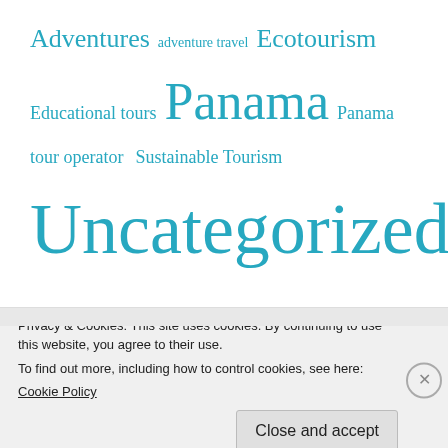[Figure (infographic): Tag cloud with tourism-related category links in varying teal font sizes: Adventures, adventure travel, Ecotourism, Educational tours, Panama (large), Panama tour operator, Sustainable Tourism, Uncategorized (very large)]
[Figure (screenshot): Partial website screenshot showing a teal/green header bar at top of a new section]
Privacy & Cookies: This site uses cookies. By continuing to use this website, you agree to their use.
To find out more, including how to control cookies, see here:
Cookie Policy
Close and accept